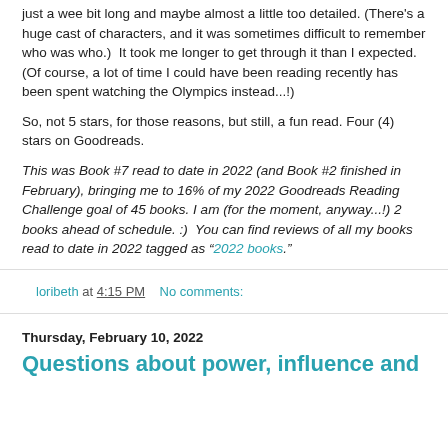just a wee bit long and maybe almost a little too detailed. (There's a huge cast of characters, and it was sometimes difficult to remember who was who.)  It took me longer to get through it than I expected. (Of course, a lot of time I could have been reading recently has been spent watching the Olympics instead...!)
So, not 5 stars, for those reasons, but still, a fun read. Four (4) stars on Goodreads.
This was Book #7 read to date in 2022 (and Book #2 finished in February), bringing me to 16% of my 2022 Goodreads Reading Challenge goal of 45 books. I am (for the moment, anyway...!) 2 books ahead of schedule. :)  You can find reviews of all my books read to date in 2022 tagged as "2022 books".
loribeth at 4:15 PM    No comments:
Thursday, February 10, 2022
Questions about power, influence and